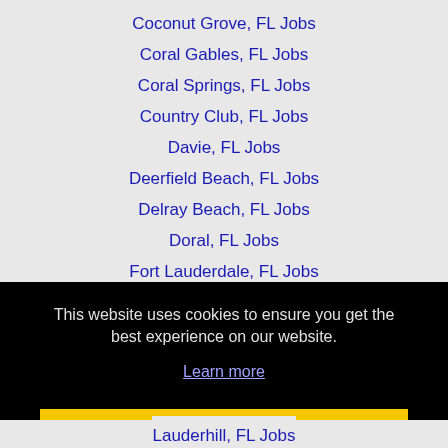Coconut Grove, FL Jobs
Coral Gables, FL Jobs
Coral Springs, FL Jobs
Country Club, FL Jobs
Davie, FL Jobs
Deerfield Beach, FL Jobs
Delray Beach, FL Jobs
Doral, FL Jobs
Fort Lauderdale, FL Jobs
This website uses cookies to ensure you get the best experience on our website.
Learn more
Got it!
Lauderhill, FL Jobs